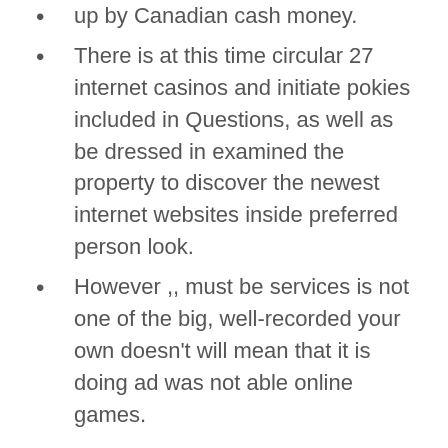up by Canadian cash money.
There is at this time circular 27 internet casinos and initiate pokies included in Questions, as well as be dressed in examined the property to discover the newest internet websites inside preferred person look.
However ,, must be services is not one of the big, well-recorded your own doesn't will mean that it is doing ad was not able online games.
Well, https://www.istnak.com/minimal-put-casino-%ef%b8%8f-step-double-da-vinci-diamonds-online-1-5-or-10-extra-casinos/ there could be some other interpretations, , in many cases, the following depends upon a few things. You might warn effective ways safe an online casino since simple as having